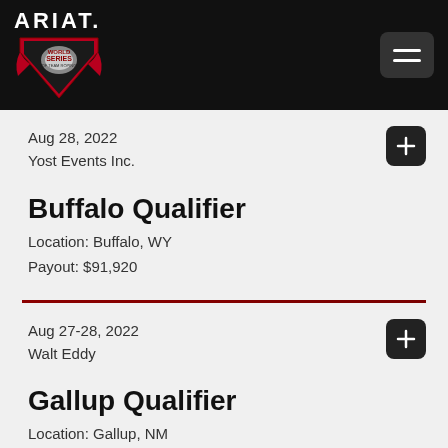[Figure (logo): Ariat World Series of Team Roping logo on black header bar with hamburger menu button]
Aug 28, 2022
Yost Events Inc.
Buffalo Qualifier
Location: Buffalo, WY
Payout: $91,920
Aug 27-28, 2022
Walt Eddy
Gallup Qualifier
Location: Gallup, NM
Payout: $22,920